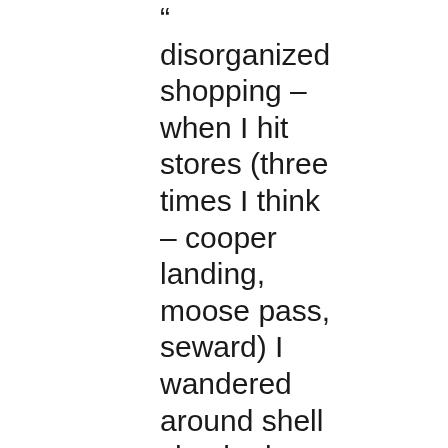" disorganized shopping – when I hit stores (three times I think – cooper landing, moose pass, seward) I wandered around shell shocked, confused about what to get, and